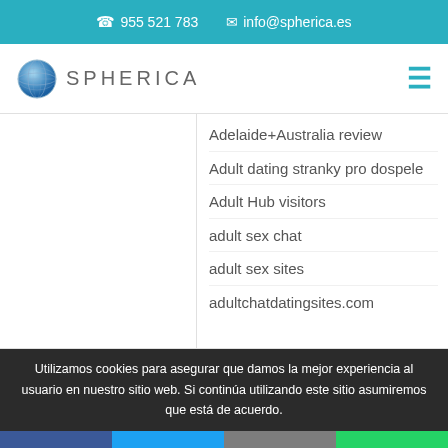955 521 783   info@spherica.es
[Figure (logo): Spherica globe logo with text SPHERICA]
Adelaide+Australia review
Adult dating stranky pro dospele
Adult Hub visitors
adult sex chat
adult sex sites
adultchatdatingsites.com
Utilizamos cookies para asegurar que damos la mejor experiencia al usuario en nuestro sitio web. Si continúa utilizando este sitio asumiremos que está de acuerdo.
[Figure (infographic): Social share buttons: Facebook, Twitter, Email, WhatsApp]